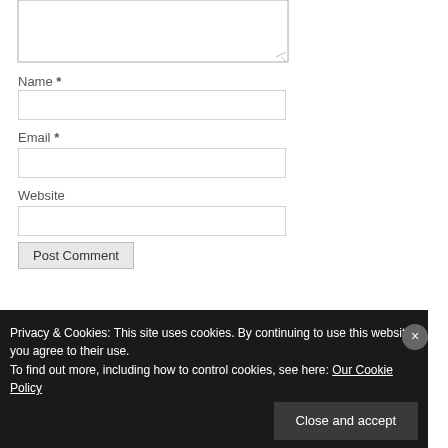[Figure (screenshot): Partial textarea (comment input box) at top of page, cropped]
Name *
[Figure (screenshot): Name input text field]
Email *
[Figure (screenshot): Email input text field]
Website
[Figure (screenshot): Website input text field]
Post Comment
Privacy & Cookies: This site uses cookies. By continuing to use this website, you agree to their use.
To find out more, including how to control cookies, see here: Our Cookie Policy
Close and accept